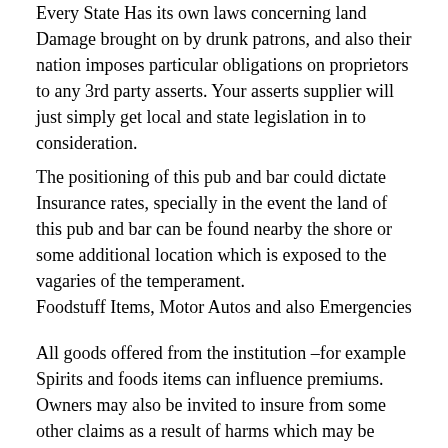Every State Has its own laws concerning land Damage brought on by drunk patrons, and also their nation imposes particular obligations on proprietors to any 3rd party asserts. Your asserts supplier will just simply get local and state legislation in to consideration.
The positioning of this pub and bar could dictate Insurance rates, specially in the event the land of this pub and bar can be found nearby the shore or some additional location which is exposed to the vagaries of the temperament.
Foodstuff Items, Motor Autos and also Emergencies
All goods offered from the institution –for example Spirits and foods items can influence premiums. Owners may also be invited to insure from some other claims as a result of harms which may be effected with the services and items. Otherwise, you might possibly perhaps well not be given a liquor permit